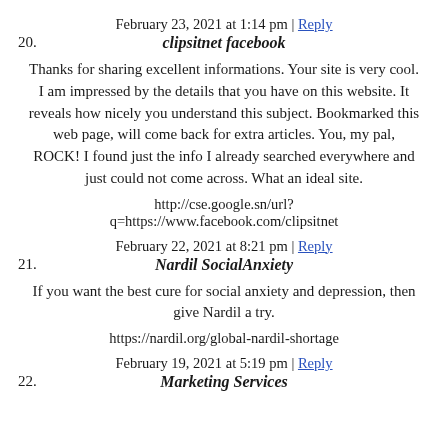February 23, 2021 at 1:14 pm | Reply
20.  clipsitnet facebook
Thanks for sharing excellent informations. Your site is very cool. I am impressed by the details that you have on this website. It reveals how nicely you understand this subject. Bookmarked this web page, will come back for extra articles. You, my pal, ROCK! I found just the info I already searched everywhere and just could not come across. What an ideal site.
http://cse.google.sn/url?q=https://www.facebook.com/clipsitnet
February 22, 2021 at 8:21 pm | Reply
21.  Nardil SocialAnxiety
If you want the best cure for social anxiety and depression, then give Nardil a try.
https://nardil.org/global-nardil-shortage
February 19, 2021 at 5:19 pm | Reply
22.  Marketing Services